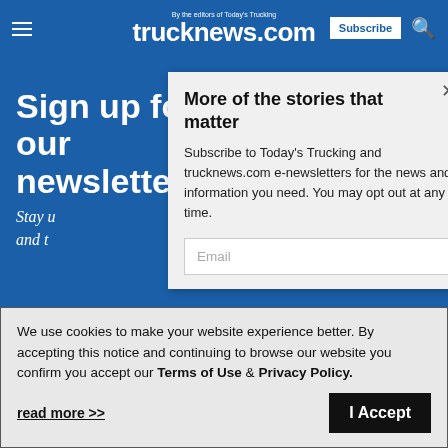trucknews.com — By the editors of Today's Trucking — Subscribe
Sign up for our newsletter
Stay u... and t...
More of the stories that matter
Subscribe to Today's Trucking and trucknews.com e-newsletters for the news and information you need. You may opt out at any time.
Email
We use cookies to make your website experience better. By accepting this notice and continuing to browse our website you confirm you accept our Terms of Use & Privacy Policy.
read more >>
I Accept